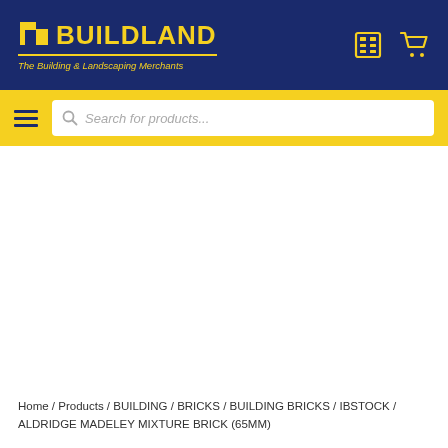[Figure (logo): Buildland logo with icon, bold yellow text 'BUILDLAND', yellow underline, and italic tagline 'The Building & Landscaping Merchants' on dark navy background. Top right has calculator and shopping cart icons in yellow.]
[Figure (screenshot): Yellow navigation bar with hamburger menu icon on the left and a white search box with placeholder 'Search for products...' and a search magnifier icon.]
Home / Products / BUILDING / BRICKS / BUILDING BRICKS / IBSTOCK / ALDRIDGE MADELEY MIXTURE BRICK (65MM)